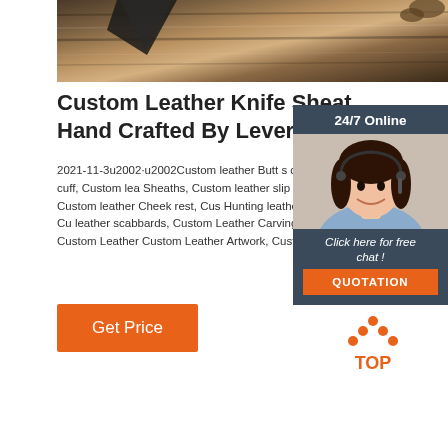[Figure (photo): Knife and leather sheath on wooden background, top portion cropped]
Custom Leather Knife Sheaths Hand Crafted By Lever
2021-11-3u2002·u2002Custom leather Butt s covers, Custom leather butt cuff, Custom lea Sheaths, Custom leather slip cover, Custom Rifle Slings, Custom leather Cheek rest, Cus Hunting leather, Custom Shotgun leather, Cu leather scabbards, Custom Leather Carvings Leather Shotgun Pouches, Custom Leather Custom Leather Artwork, Custom Leather Ca
[Figure (photo): Chat widget with 24/7 Online support agent photo, Click here for free chat button, and QUOTATION button]
Get Price
[Figure (other): TOP arrow/chevron icon in orange dots style]